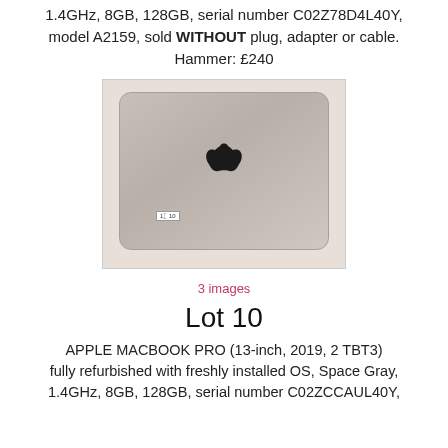1.4GHz, 8GB, 128GB, serial number C02Z78D4L40Y, model A2159, sold WITHOUT plug, adapter or cable. Hammer: £240
[Figure (photo): Photo of an Apple MacBook Pro laptop lid, silver/space gray color, showing the Apple logo on the back, with a small lot label tag in the bottom left corner. Background is light pink/beige.]
3 images
Lot 10
APPLE MACBOOK PRO (13-inch, 2019, 2 TBT3) fully refurbished with freshly installed OS, Space Gray, 1.4GHz, 8GB, 128GB, serial number C02ZCCAUL40Y,